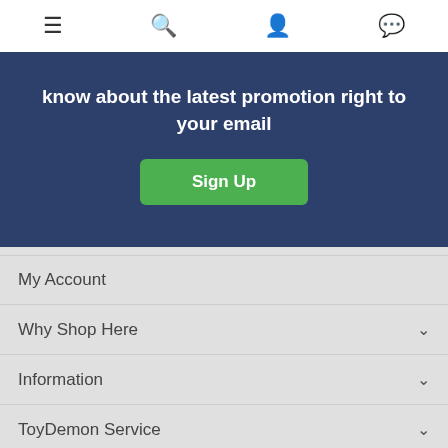Navigation bar with menu, search, account, and chat icons
know about the latest promotion right to your email
Sign Up
My Account
Why Shop Here
Information
ToyDemon Service
Useful Links